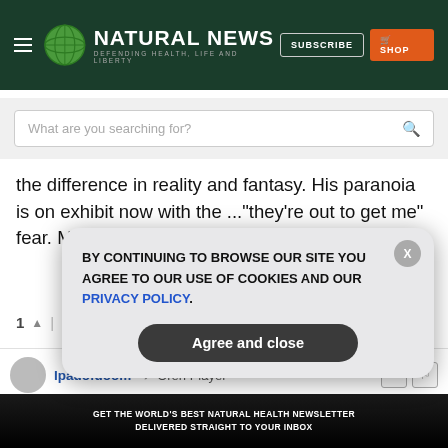NATURAL NEWS — DEFENDING HEALTH, LIFE AND LIBERTY | SUBSCRIBE | SHOP
[Figure (screenshot): Search bar with placeholder text 'What are you searching for?' and a magnifying glass icon]
the difference in reality and fantasy. His paranoia is on exhibit now with the ..."they're out to get me" fear. Maybe they are. Time will tell.
1 ↑ | ↓ Reply
Ipadofdoom → Oren Player
GET THE WORLD'S BEST NATURAL HEALTH NEWSLETTER DELIVERED STRAIGHT TO YOUR INBOX
BY CONTINUING TO BROWSE OUR SITE YOU AGREE TO OUR USE OF COOKIES AND OUR PRIVACY POLICY.
Agree and close